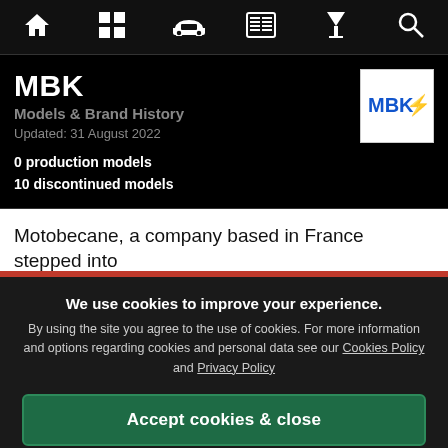[Figure (screenshot): Website navigation bar with icons: home, grid, car, newspaper, filter/cocktail, search]
MBK
Models & Brand History
Updated: 31 August 2022
0 production models
10 discontinued models
[Figure (logo): MBK logo in white box with blue text MBK and red lightning bolt]
Motobecane, a company based in France stepped into
We use cookies to improve your experience. By using the site you agree to the use of cookies. For more information and options regarding cookies and personal data see our Cookies Policy and Privacy Policy
Accept cookies & close
California residents: Do Not Sell My Info